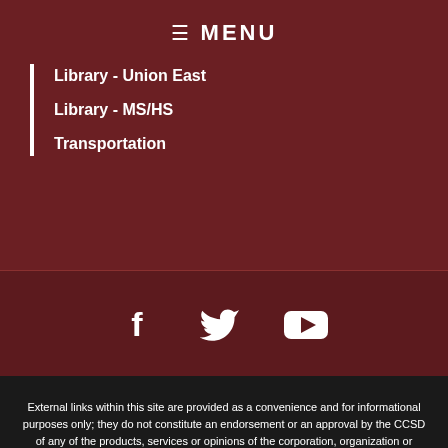☰ MENU
Library - Union East
Library - MS/HS
Transportation
[Figure (infographic): Social media icons: Facebook, Twitter, YouTube]
External links within this site are provided as a convenience and for informational purposes only; they do not constitute an endorsement or an approval by the CCSD of any of the products, services or opinions of the corporation, organization or individual. CCSD bears no responsibility for the accuracy, legality, content or accessibility of the material of the external site or for that of subsequent links.